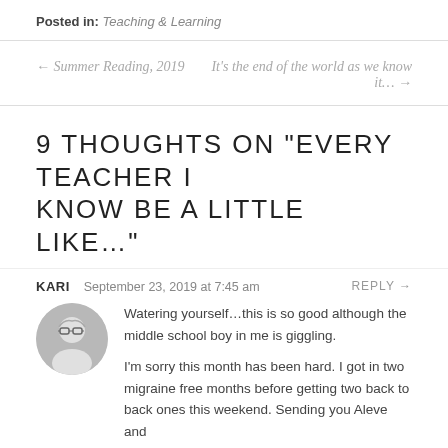Posted in: Teaching & Learning
← Summer Reading, 2019
It's the end of the world as we know it… →
9 THOUGHTS ON "EVERY TEACHER I KNOW BE A LITTLE LIKE…"
KARI  September 23, 2019 at 7:45 am  REPLY →
Watering yourself…this is so good although the middle school boy in me is giggling.

I'm sorry this month has been hard. I got in two migraine free months before getting two back to back ones this weekend. Sending you Aleve and